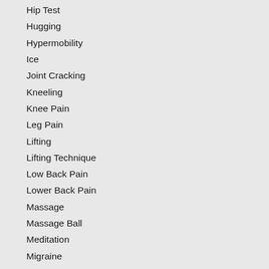Hip Test
Hugging
Hypermobility
Ice
Joint Cracking
Kneeling
Knee Pain
Leg Pain
Lifting
Lifting Technique
Low Back Pain
Lower Back Pain
Massage
Massage Ball
Meditation
Migraine
Mirgrane
Mobility
Movement